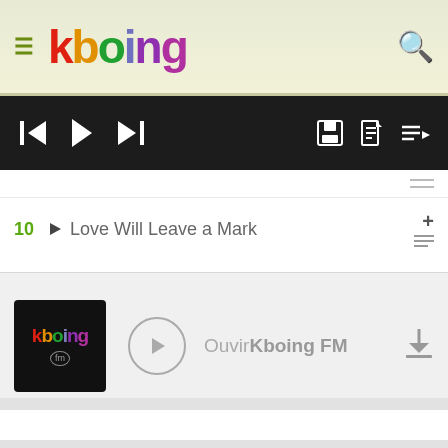kboing
[Figure (screenshot): Kboing music player toolbar with previous, play, next controls and save, info, playlist icons on dark background]
10  ▶  Love Will Leave a Mark
[Figure (screenshot): Kboing FM radio card with logo, play button, text 'Ouvir Kboing FM' and download icon]
publicidade